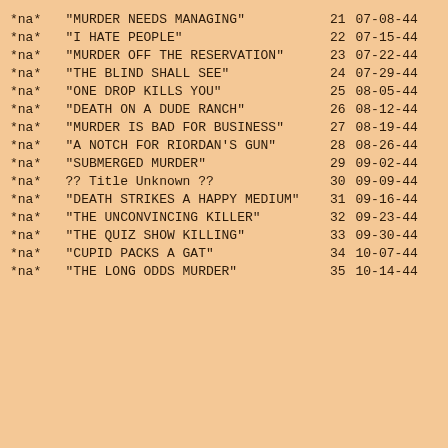| NA | Title | Ep | Date |
| --- | --- | --- | --- |
| *na* | "MURDER NEEDS MANAGING" | 21 | 07-08-44 |
| *na* | "I HATE PEOPLE" | 22 | 07-15-44 |
| *na* | "MURDER OFF THE RESERVATION" | 23 | 07-22-44 |
| *na* | "THE BLIND SHALL SEE" | 24 | 07-29-44 |
| *na* | "ONE DROP KILLS YOU" | 25 | 08-05-44 |
| *na* | "DEATH ON A DUDE RANCH" | 26 | 08-12-44 |
| *na* | "MURDER IS BAD FOR BUSINESS" | 27 | 08-19-44 |
| *na* | "A NOTCH FOR RIORDAN'S GUN" | 28 | 08-26-44 |
| *na* | "SUBMERGED MURDER" | 29 | 09-02-44 |
| *na* | ?? Title Unknown ?? | 30 | 09-09-44 |
| *na* | "DEATH STRIKES A HAPPY MEDIUM" | 31 | 09-16-44 |
| *na* | "THE UNCONVINCING KILLER" | 32 | 09-23-44 |
| *na* | "THE QUIZ SHOW KILLING" | 33 | 09-30-44 |
| *na* | "CUPID PACKS A GAT" | 34 | 10-07-44 |
| *na* | "THE LONG ODDS MURDER" | 35 | 10-14-44 |